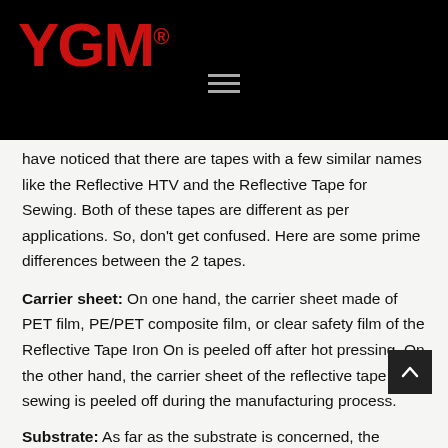[Figure (logo): YGM logo in red on black background with registered trademark symbol]
[Figure (other): Hamburger menu icon (three horizontal lines) in gray on black background]
[Figure (other): Red 'Send Inquiry' button on black background]
have noticed that there are tapes with a few similar names like the Reflective HTV and the Reflective Tape for Sewing. Both of these tapes are different as per applications. So, don't get confused. Here are some prime differences between the 2 tapes.
Carrier sheet: On one hand, the carrier sheet made of PET film, PE/PET composite film, or clear safety film of the Reflective Tape Iron On is peeled off after hot pressing. On the other hand, the carrier sheet of the reflective tape for sewing is peeled off during the manufacturing process.
Substrate: As far as the substrate is concerned, the reflective